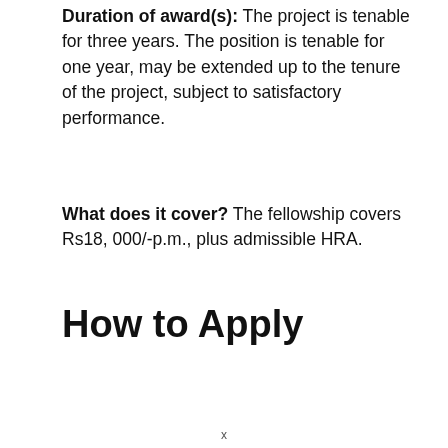Duration of award(s): The project is tenable for three years. The position is tenable for one year, may be extended up to the tenure of the project, subject to satisfactory performance.
What does it cover? The fellowship covers Rs18, 000/-p.m., plus admissible HRA.
How to Apply
x